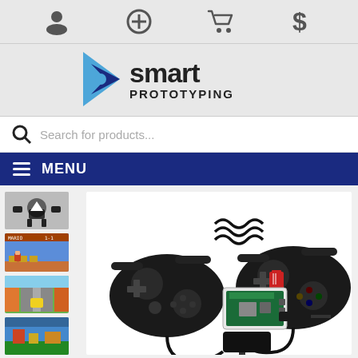[Figure (screenshot): Website screenshot of Smart Prototyping e-commerce store showing navigation icons, logo, search bar, menu, product thumbnails and main product image of Raspberry Pi gaming kit with controllers]
Smart Prototyping - Search for products... MENU